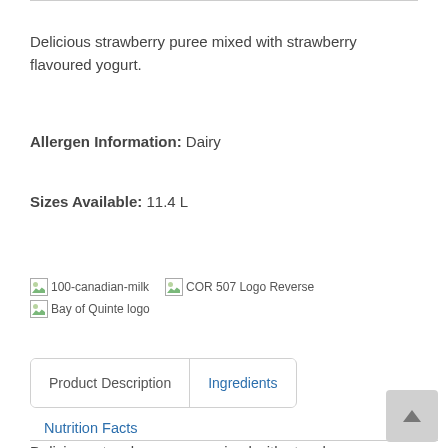Delicious strawberry puree mixed with strawberry flavoured yogurt.
Allergen Information: Dairy
Sizes Available: 11.4 L
[Figure (logo): Three broken image placeholders: '100-canadian-milk', 'COR 507 Logo Reverse', and 'Bay of Quinte logo']
Product Description | Ingredients
Nutrition Facts
Delicious strawberry puree mixed with strawberry